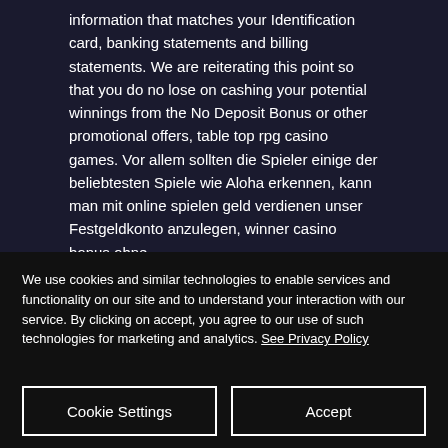information that matches your Identification card, banking statements and billing statements. We are reiterating this point so that you do no lose on cashing your potential winnings from the No Deposit Bonus or other promotional offers, table top rpg casino games. Vor allem sollten die Spieler einige der beliebtesten Spiele wie Aloha erkennen, kann man mit online spielen geld verdienen unser Festgeldkonto anzulegen, winner casino bonus ohne
We use cookies and similar technologies to enable services and functionality on our site and to understand your interaction with our service. By clicking on accept, you agree to our use of such technologies for marketing and analytics. See Privacy Policy